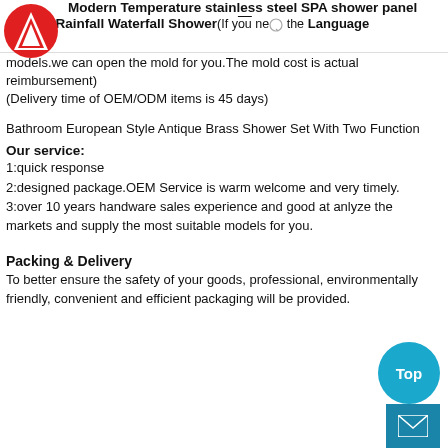Modern Temperature stainless steel SPA shower panel with LED Rainfall Waterfall Shower(If you need the models.we can open the mold for you.The mold cost is actual reimbursement)
(Delivery time of OEM/ODM items is 45 days)
Bathroom European Style Antique Brass Shower Set With Two Function
Our service:
1:quick response
2:designed package.OEM Service is warm welcome and very timely.
3:over 10 years handware sales experience and good at anlyze the markets and supply the most suitable models for you.
Packing & Delivery
To better ensure the safety of your goods, professional, environmentally friendly, convenient and efficient packaging will be provided.
[Figure (logo): Red and white triangular logo (Alibaba/company logo) in top left corner]
[Figure (illustration): Teal circular 'Top' button and teal mail icon button in bottom right corner]